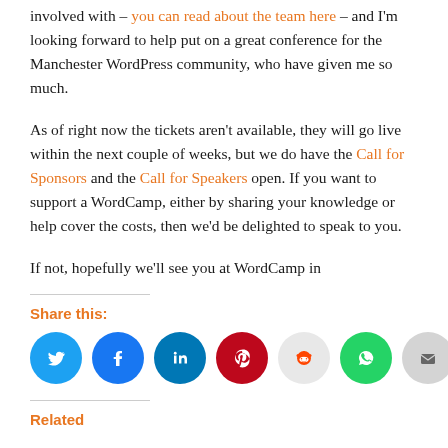involved with – you can read about the team here – and I'm looking forward to help put on a great conference for the Manchester WordPress community, who have given me so much.
As of right now the tickets aren't available, they will go live within the next couple of weeks, but we do have the Call for Sponsors and the Call for Speakers open. If you want to support a WordCamp, either by sharing your knowledge or help cover the costs, then we'd be delighted to speak to you.
If not, hopefully we'll see you at WordCamp in
Share this:
[Figure (infographic): Row of social sharing icon buttons: Twitter (blue), Facebook (blue), LinkedIn (dark blue), Pinterest (red), Reddit (light grey), WhatsApp (green), Email (grey)]
Related